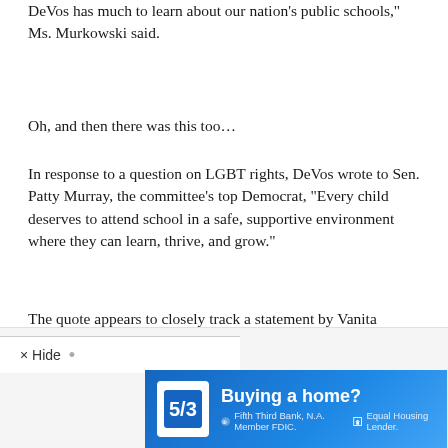DeVos has much to learn about our nation's public schools," Ms. Murkowski said.
Oh, and then there was this too…
In response to a question on LGBT rights, DeVos wrote to Sen. Patty Murray, the committee's top Democrat, "Every child deserves to attend school in a safe, supportive environment where they can learn, thrive, and grow."
The quote appears to closely track a statement by Vanita Gupta, head of the Justice Department's Civil Rights Division, who said in a May press release , "Every child deserves to attend school in a safe, supportive environment that allows them to thrive and grow."
[Figure (infographic): Advertisement banner for Fifth Third Bank featuring 'Buying a home?' text with bank logo, blue gradient background. Includes 'x Hide' control above the ad.]